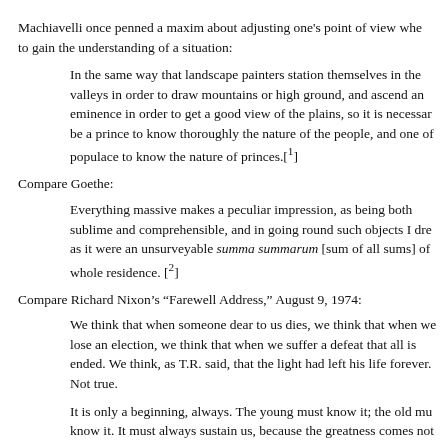Machiavelli once penned a maxim about adjusting one's point of view whe to gain the understanding of a situation:
In the same way that landscape painters station themselves in the valleys in order to draw mountains or high ground, and ascend an eminence in order to get a good view of the plains, so it is necessary be a prince to know thoroughly the nature of the people, and one of populace to know the nature of princes.[1]
Compare Goethe:
Everything massive makes a peculiar impression, as being both sublime and comprehensible, and in going round such objects I drew as it were an unsurveyable summa summarum [sum of all sums] of whole residence. [2]
Compare Richard Nixon’s “Farewell Address,” August 9, 1974:
We think that when someone dear to us dies, we think that when we lose an election, we think that when we suffer a defeat that all is ended. We think, as T.R. said, that the light had left his life forever. Not true.
It is only a beginning, always. The young must know it; the old must know it. It must always sustain us, because the greatness comes not